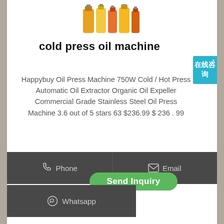[Figure (photo): Product photo of oil bottles (cooking oil) in orange and yellow colors]
cold press oil machine
Happybuy Oil Press Machine 750W Cold / Hot Press Automatic Oil Extractor Organic Oil Expeller Commercial Grade Stainless Steel Oil Press Machine 3.6 out of 5 stars 63 $236.99 $ 236 . 99
[Figure (screenshot): Chinese live chat floating widget showing 在线咨询 (online consultation) in teal/blue color]
Phone
Email
Send Inquiry
Whatsapp